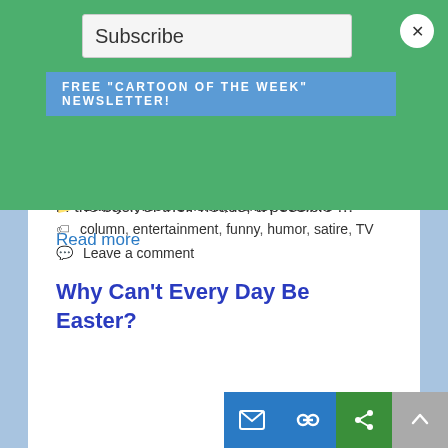Subscribe
FREE "Cartoon of the Week" Newsletter!
the typical Dish-worshipping couch potato mode as they age? Besides aliens with eyes in the back of their heads, a possible …
Read more
Danny Tyree's Column, Humor Columns
column, entertainment, funny, humor, satire, TV
Leave a comment
Why Can't Every Day Be Easter?